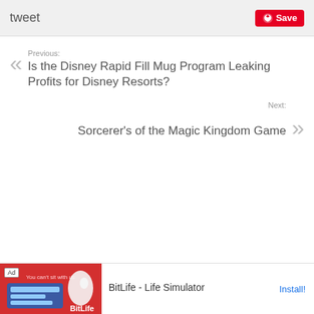tweet
Save
Previous: Is the Disney Rapid Fill Mug Program Leaking Profits for Disney Resorts?
Next: Sorcerer's of the Magic Kingdom Game
Ad BitLife - Life Simulator Install!